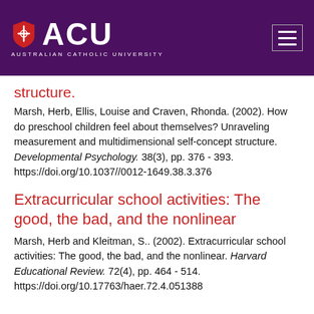[Figure (logo): ACU (Australian Catholic University) logo on purple header background with hamburger menu icon]
structure.
Marsh, Herb, Ellis, Louise and Craven, Rhonda. (2002). How do preschool children feel about themselves? Unraveling measurement and multidimensional self-concept structure. Developmental Psychology. 38(3), pp. 376 - 393. https://doi.org/10.1037//0012-1649.38.3.376
Extracurricular school activities: The good, the bad, and the nonlinear
Marsh, Herb and Kleitman, S.. (2002). Extracurricular school activities: The good, the bad, and the nonlinear. Harvard Educational Review. 72(4), pp. 464 - 514. https://doi.org/10.17763/haer.72.4.051388